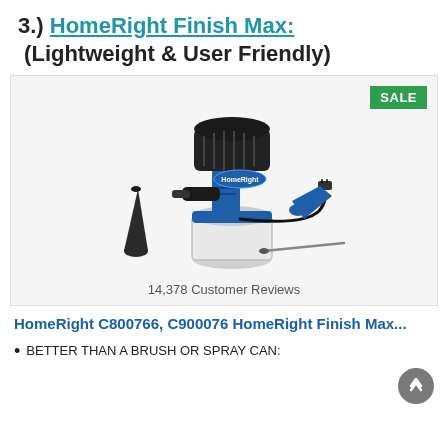3.) HomeRight Finish Max: (Lightweight & User Friendly)
[Figure (photo): Blue and white HomeRight Finish Max paint sprayer with accessories including a cone nozzle tip, cleaning needle, and spare part, shown on a light background with a green SALE badge in the top right corner.]
14,378 Customer Reviews
HomeRight C800766, C900076 HomeRight Finish Max...
BETTER THAN A BRUSH OR SPRAY CAN: